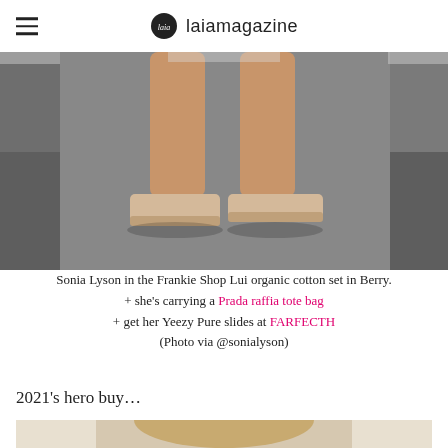laiamagazine
[Figure (photo): Close-up of a person's legs wearing beige/tan Yeezy Pure slides on a paved surface]
Sonia Lyson in the Frankie Shop Lui organic cotton set in Berry.
+ she's carrying a Prada raffia tote bag
+ get her Yeezy Pure slides at FARFECTH
(Photo via @sonialyson)
2021's hero buy…
[Figure (photo): Partial view of a person with blonde hair, cropped at bottom of frame]